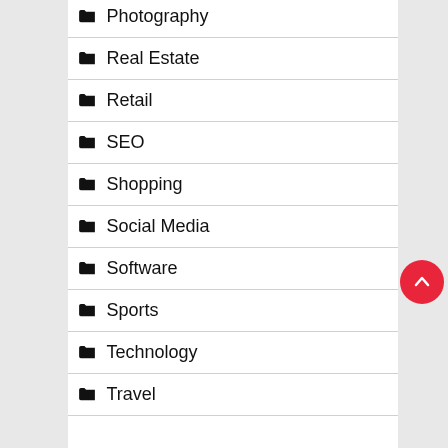Photography
Real Estate
Retail
SEO
Shopping
Social Media
Software
Sports
Technology
Travel